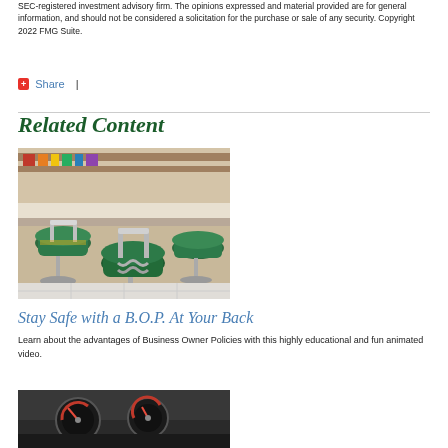SEC-registered investment advisory firm. The opinions expressed and material provided are for general information, and should not be considered a solicitation for the purchase or sale of any security. Copyright 2022 FMG Suite.
Share  |
Related Content
[Figure (photo): Interior of a retro diner showing green vinyl bar stools with chrome bases along a counter]
Stay Safe with a B.O.P. At Your Back
Learn about the advantages of Business Owner Policies with this highly educational and fun animated video.
[Figure (photo): Partial view of a car dashboard with gauges visible]